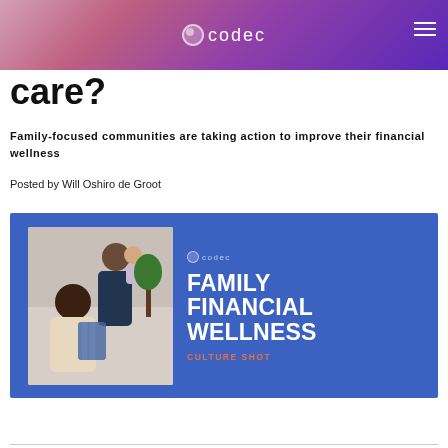codec
care?
Family-focused communities are taking action to improve their financial wellness
Posted by Will Oshiro de Groot
[Figure (illustration): Blue promotional banner with family photo on left showing a woman, man, and baby, and white bold text on the right reading FAMILY FINANCIAL WELLNESS with CULTURE SHOT below in orange, and a codec logo.]